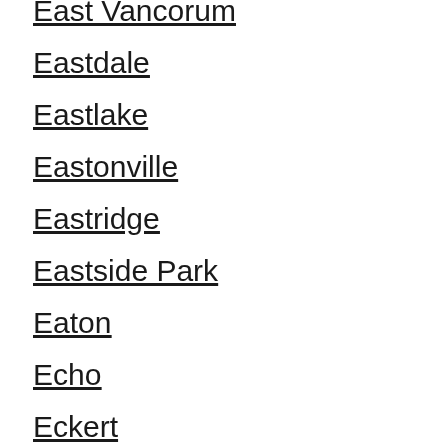East Vancorum
Eastdale
Eastlake
Eastonville
Eastridge
Eastside Park
Eaton
Echo
Eckert
Eckley
Eden